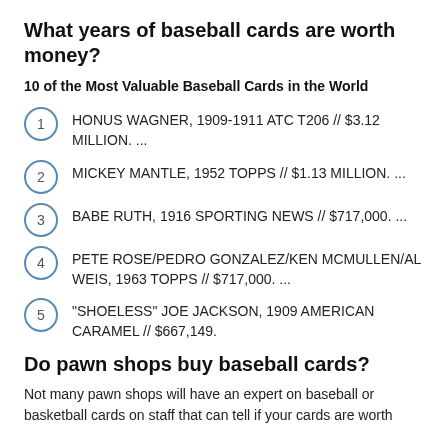What years of baseball cards are worth money?
10 of the Most Valuable Baseball Cards in the World
HONUS WAGNER, 1909-1911 ATC T206 // $3.12 MILLION. ...
MICKEY MANTLE, 1952 TOPPS // $1.13 MILLION. ...
BABE RUTH, 1916 SPORTING NEWS // $717,000. ...
PETE ROSE/PEDRO GONZALEZ/KEN MCMULLEN/AL WEIS, 1963 TOPPS // $717,000. ...
“SHOELESS” JOE JACKSON, 1909 AMERICAN CARAMEL // $667,149.
Do pawn shops buy baseball cards?
Not many pawn shops will have an expert on baseball or basketball cards on staff that can tell if your cards are worth